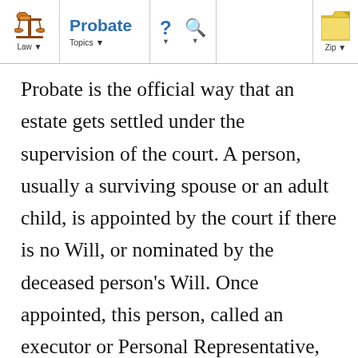Law | Probate | Topics
Probate is the official way that an estate gets settled under the supervision of the court. A person, usually a surviving spouse or an adult child, is appointed by the court if there is no Will, or nominated by the deceased person's Will. Once appointed, this person, called an executor or Personal Representative, has the legal authority to gather and value the assets owned by the estate, to pay bills and